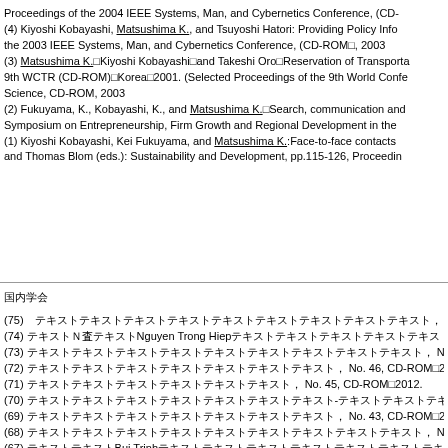Proceedings of the 2004 IEEE Systems, Man, and Cybernetics Conference, (CD-...
(4) Kiyoshi Kobayashi, Matsushima K., and Tsuyoshi Hatori: Providing Policy Info... the 2003 IEEE Systems, Man, and Cybernetics Conference, (CD-ROM), 2003
(3) Matsushima K., Kiyoshi Kobayashi and Takeshi Oro, Reservation of Transporta... 9th WCTR (CD-ROM), Korea, 2001. (Selected Proceedings of the 9th World Confe... Science, CD-ROM, 2003
(2) Fukuyama, K., Kobayashi, K., and Matsushima K., Search, communication and... Symposium on Entrepreneurship, Firm Growth and Regional Development in the...
(1) Kiyoshi Kobayashi, Kei Fukuyama, and Matsushima K.:Face-to-face contacts... and Thomas Blom (eds.): Sustainability and Development, pp.115-126, Proceedir...
国内学会
(75) [Japanese text], No. 48, CD-ROM, 2013.
(74) [Japanese text] Nguyen Trong Hiep [Japanese text], No...
(73) [Japanese text], No. 47, CD-ROM, 2013.
(72) [Japanese text], No. 46, CD-ROM, 2012.
(71) [Japanese text], No. 45, CD-ROM, 2012.
(70) [Japanese text], No. 44, CD-ROM, 2011.
(69) [Japanese text], No. 43, CD-ROM, 2011.
(68) [Japanese text], No. 43, CD-ROM, 2011.
(67) [Japanese text] Bui Trinh [Japanese text], No. 42, CD-ROM, 201...
(66) [Japanese text], No. 41, CD-ROM, 2010.
(65) [Japanese text], No. 41, CD-ROM...